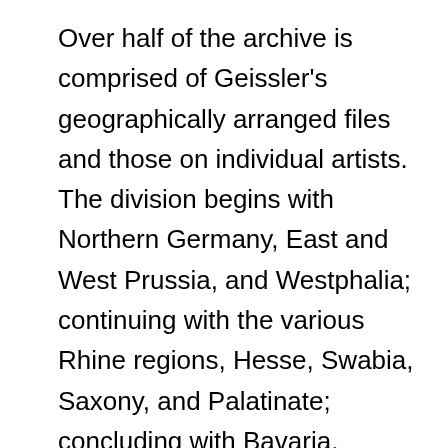Over half of the archive is comprised of Geissler's geographically arranged files and those on individual artists. The division begins with Northern Germany, East and West Prussia, and Westphalia; continuing with the various Rhine regions, Hesse, Swabia, Saxony, and Palatinate; concluding with Bavaria, Austria, Switzerland, and Silesia. Especially extensive are files on artwork produced in the cities Augsburg, Cologne, Dresden, Ingolstadt, Munich, Nuremberg, Prague, Strassbourg, Stuttgart, and Wolfenbüttel. Geissler also accumulated substantial research material on the artists Christoph Schwarz, Hans Bocksberger the Elder and other members of the Bocksberger family, Johann Matthias Kager, Hans Krumpper, Hans (Johannes) Rottenhammer the Elder and his sons, and Lambert and Friedrich